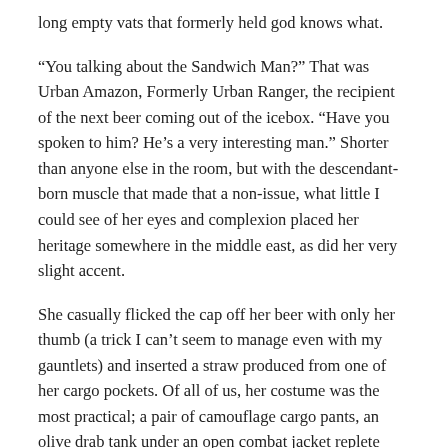long empty vats that formerly held god knows what.
“You talking about the Sandwich Man?” That was Urban Amazon, Formerly Urban Ranger, the recipient of the next beer coming out of the icebox. “Have you spoken to him? He’s a very interesting man.” Shorter than anyone else in the room, but with the descendant-born muscle that made that a non-issue, what little I could see of her eyes and complexion placed her heritage somewhere in the middle east, as did her very slight accent.
She casually flicked the cap off her beer with only her thumb (a trick I can’t seem to manage even with my gauntlets) and inserted a straw produced from one of her cargo pockets. Of all of us, her costume was the most practical; a pair of camouflage cargo pants, an olive drab tank under an open combat jacket replete with tactical webbing for her various gadgets. Her hair was tied back in a braid so tight that it was rigid, and she covered the lover half of her face with a close fitting, dark green bandanna, worn ninja-style instead of bandit-style like mine.